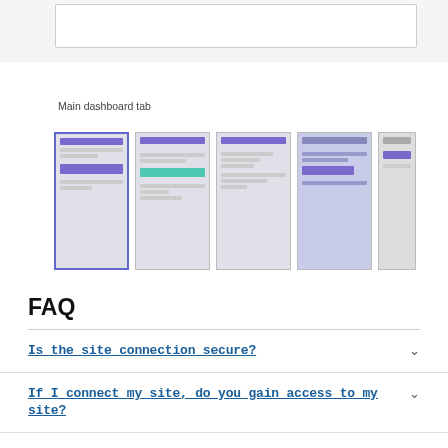[Figure (screenshot): Top gray area showing a white rectangle (dashboard UI element) with gray background]
Main dashboard tab
[Figure (screenshot): Horizontal strip of five thumbnail screenshots of a plugin dashboard UI, showing various screens with purple and teal UI elements]
FAQ
Is the site connection secure?
If I connect my site, do you gain access to my site?
Is this plugin tracking me?